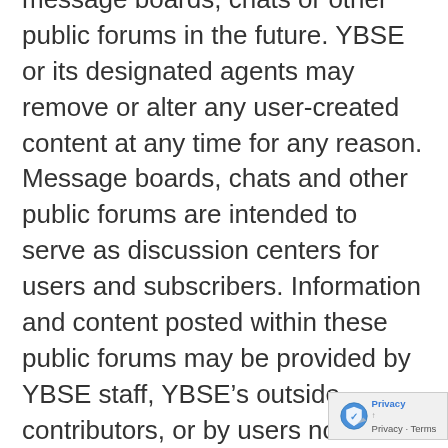message boards, chats or other public forums in the future. YBSE or its designated agents may remove or alter any user-created content at any time for any reason. Message boards, chats and other public forums are intended to serve as discussion centers for users and subscribers. Information and content posted within these public forums may be provided by YBSE staff, YBSE’s outside contributors, or by users not connected with YBSE, some of whom may employ anonymous user names. YBSE expressly disclaims all responsibility and endorsement and makes no representation as to the validity of any opinion, advice, information or statement made or displayed in these forums by third parties, nor are we